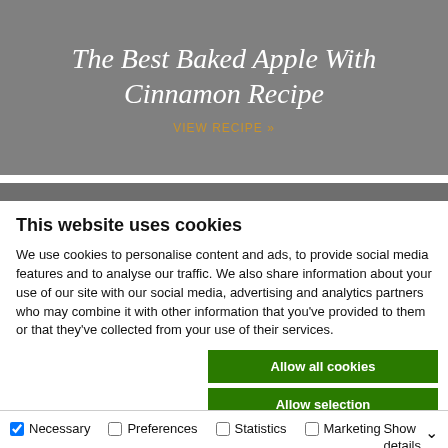[Figure (other): Grey hero banner with italic serif title 'The Best Baked Apple With Cinnamon Recipe' in white on grey background, with 'VIEW RECIPE »' link in gold/amber color]
This website uses cookies
We use cookies to personalise content and ads, to provide social media features and to analyse our traffic. We also share information about your use of our site with our social media, advertising and analytics partners who may combine it with other information that you've provided to them or that they've collected from your use of their services.
Allow all cookies
Allow selection
Use necessary cookies only
Necessary  Preferences  Statistics  Marketing  Show details